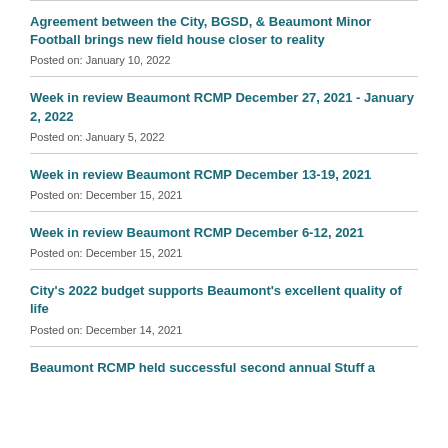Agreement between the City, BGSD, & Beaumont Minor Football brings new field house closer to reality
Posted on: January 10, 2022
Week in review Beaumont RCMP December 27, 2021 - January 2, 2022
Posted on: January 5, 2022
Week in review Beaumont RCMP December 13-19, 2021
Posted on: December 15, 2021
Week in review Beaumont RCMP December 6-12, 2021
Posted on: December 15, 2021
City's 2022 budget supports Beaumont's excellent quality of life
Posted on: December 14, 2021
Beaumont RCMP held successful second annual Stuff a